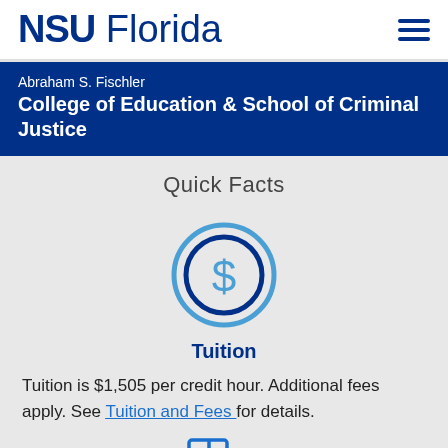NSU Florida
Abraham S. Fischler
College of Education & School of Criminal Justice
Quick Facts
[Figure (illustration): Dollar sign coin icon — two concentric circles in blue with a dollar sign in the center, representing tuition costs]
Tuition
Tuition is $1,505 per credit hour. Additional fees apply. See Tuition and Fees for details.
[Figure (illustration): Partial document/file icon at bottom of page]